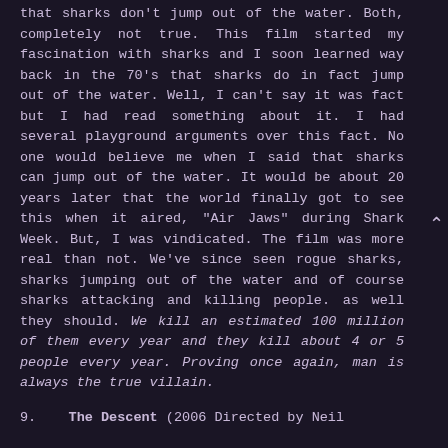that sharks don't jump out of the water. Both, completely not true. This film started my fascination with sharks and I soon learned way back in the 70's that sharks do in fact jump out of the water. Well, I can't say it was fact but I had read something about it. I had several playground arguments over this fact. No one would believe me when I said that sharks can jump out of the water. It would be about 20 years later that the world finally got to see this when it aired, "Air Jaws" during Shark Week. But, I was vindicated. The film was more real than not. We've since seen rogue sharks, sharks jumping out of the water and of course sharks attacking and killing people. as well they should. We kill an estimated 100 million of them every year and they kill about 4 or 5 people every year. Proving once again, man is always the true villain.
9. The Descent (2006 Directed by Neil